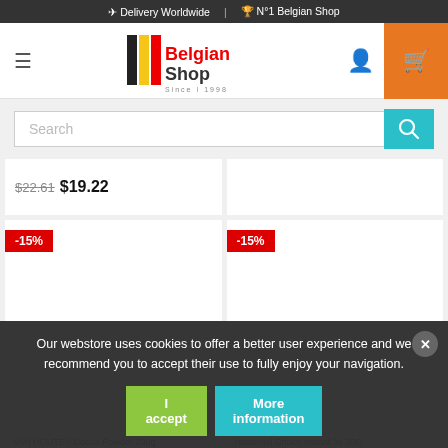✈ Delivery Worldwide | 🏆 N°1 Belgian Shop
[Figure (logo): Belgian Shop logo with black/yellow/red vertical stripes and text 'Belgian Shop Since 1998']
Search
$22.61  $19.22
-15%
-15%
VAN HOUTEN Cocoa Powder 200g
Hotcemel Choco Instant 3x 30G
Our webstore uses cookies to offer a better user experience and we recommend you to accept their use to fully enjoy your navigation.
I accept
More information